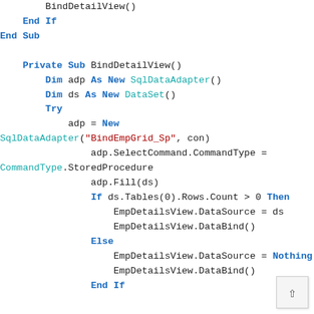BindDetailView()
    End If
End Sub

    Private Sub BindDetailView()
        Dim adp As New SqlDataAdapter()
        Dim ds As New DataSet()
        Try
            adp = New
SqlDataAdapter("BindEmpGrid_Sp", con)
                adp.SelectCommand.CommandType =
CommandType.StoredProcedure
                adp.Fill(ds)
                If ds.Tables(0).Rows.Count > 0 Then
                    EmpDetailsView.DataSource = ds
                    EmpDetailsView.DataBind()
                Else
                    EmpDetailsView.DataSource = Nothing
                    EmpDetailsView.DataBind()
                End If